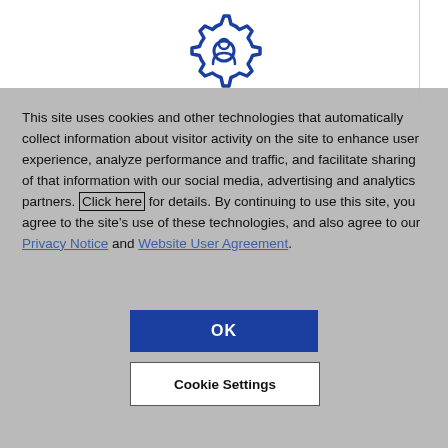Modern Compatibility
[Figure (illustration): Blue gear/settings icon with a person silhouette in the center, outline style in dark blue]
This site uses cookies and other technologies that automatically collect information about visitor activity on the site to enhance user experience, analyze performance and traffic, and facilitate sharing of that information with our social media, advertising and analytics partners. Click here for details. By continuing to use this site, you agree to the site’s use of these technologies, and also agree to our Privacy Notice and Website User Agreement.
OK
Cookie Settings